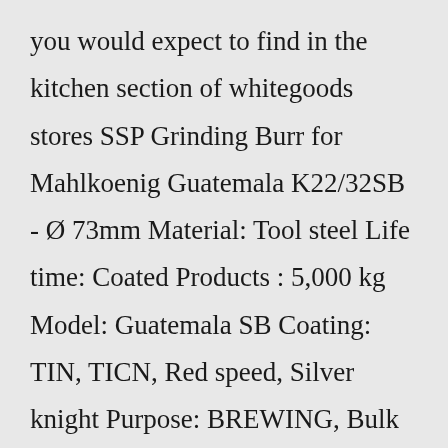you would expect to find in the kitchen section of whitegoods stores SSP Grinding Burr for Mahlkoenig Guatemala K22/32SB - Ø 73mm Material: Tool steel Life time: Coated Products : 5,000 kg Model: Guatemala SB Coating: TIN, TICN, Red speed, Silver knight Purpose: BREWING, Bulk grinding (25) Compare Orders under £100, delivery of just £8 For the utmost clarity and accuracy, team this unit with